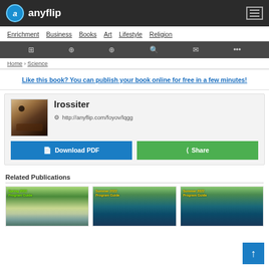anyflip
Enrichment
Business
Books
Art
Lifestyle
Religion
Home > Science
Like this book? You can publish your book online for free in a few minutes!
lrossiter
http://anyflip.com/foyov/lqgg
Download PDF
Share
Related Publications
[Figure (photo): Spring 2022 Program Guide cover with dock and lake]
[Figure (photo): Summer 2022 Program Guide cover with kayakers on lake]
[Figure (photo): Summer 2022 Program Guide cover with kayakers on lake (second)]